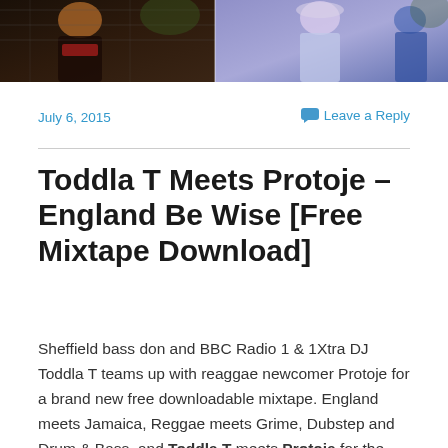[Figure (photo): Photo strip at top of page showing two people outdoors, split into left and right sections with dark and purple/blue tones]
July 6, 2015
Leave a Reply
Toddla T Meets Protoje – England Be Wise [Free Mixtape Download]
Sheffield bass don and BBC Radio 1 & 1Xtra DJ Toddla T teams up with reaggae newcomer Protoje for a brand new free downloadable mixtape. England meets Jamaica, Reggae meets Grime, Dubstep and Drum & Bass, and Toddla T meets Protoje for the awesome